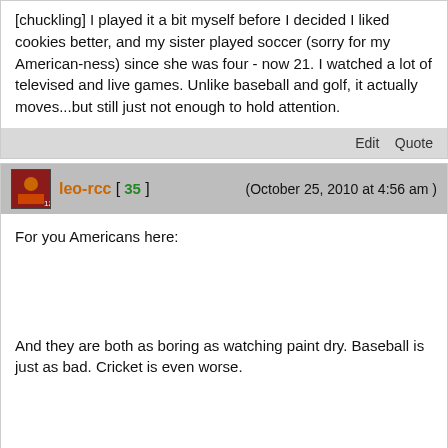[chuckling] I played it a bit myself before I decided I liked cookies better, and my sister played soccer (sorry for my American-ness) since she was four - now 21. I watched a lot of televised and live games. Unlike baseball and golf, it actually moves...but still just not enough to hold attention.
Edit   Quote
leo-rcc [ 35 ]   (October 25, 2010 at 4:56 am )
For you Americans here:
And they are both as boring as watching paint dry. Baseball is just as bad. Cricket is even worse.
Edit   Quote
Edwardo-Piet [ 133 ]   (October 25, 2010 at 6:57 am )
Snooker is best.